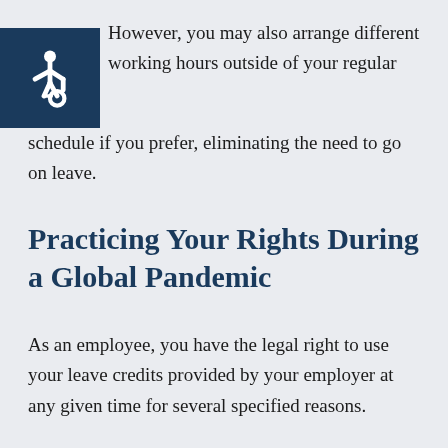However, you may also arrange different working hours outside of your regular schedule if you prefer, eliminating the need to go on leave.
[Figure (illustration): Blue square accessibility icon showing a wheelchair symbol in white]
Practicing Your Rights During a Global Pandemic
As an employee, you have the legal right to use your leave credits provided by your employer at any given time for several specified reasons.